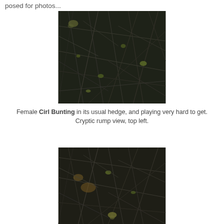posed for photos...
[Figure (photo): Photo of a female Cirl Bunting hidden in a dense hedge of dark twigs and branches, with a few green leaves visible. Bird is cryptic, rump view top left.]
Female Cirl Bunting in its usual hedge, and playing very hard to get. Cryptic rump view, top left.
[Figure (photo): Second photo of a female Cirl Bunting in dense dark twigs and branches hedge, with some yellow-green coloring visible near the bottom center.]